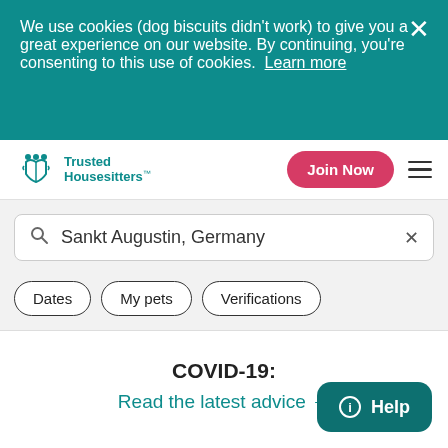We use cookies (dog biscuits didn't work) to give you a great experience on our website. By continuing, you're consenting to this use of cookies. Learn more
[Figure (logo): Trusted Housesitters logo with teal icon and text]
Join Now
Sankt Augustin, Germany
Dates
My pets
Verifications
COVID-19:
Read the latest advice →
Help